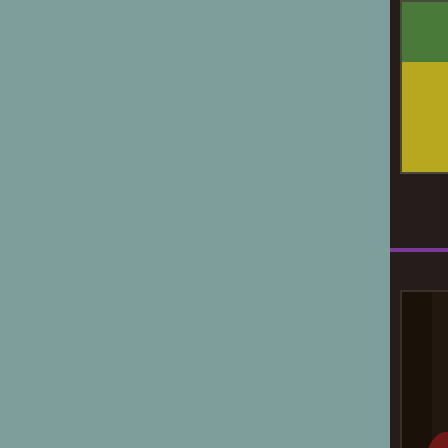[Figure (photo): Avatar image of a blue tit bird on yellow background, partially visible at top]
dancing together --
—
June 28, 2010 - 10:46pm —
[Figure (photo): Digital artwork of a dark bird/dragon creature with glowing light in a forest]
This is such a lov... trumpets (whatev...
^_^
—
June 28, 2010 - 11:30pm —